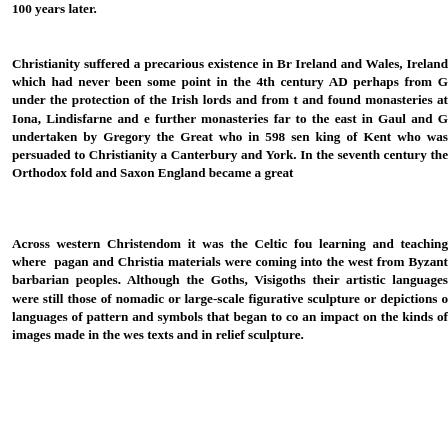100 years later.
Christianity suffered a precarious existence in Britain Ireland and Wales, Ireland which had never been some point in the 4th century AD perhaps from G under the protection of the Irish lords and from t and found monasteries at Iona, Lindisfarne and e further monasteries far to the east in Gaul and G undertaken by Gregory the Great who in 598 sen king of Kent who was persuaded to Christianity a Canterbury and York. In the seventh century the Orthodox fold and Saxon England became a great
Across western Christendom it was the Celtic fou learning and teaching where pagan and Christia materials were coming into the west from Byzant barbarian peoples. Although the Goths, Visigoths their artistic languages were still those of nomadic or large-scale figurative sculpture or depictions o languages of pattern and symbols that began to co an impact on the kinds of images made in the wes texts and in relief sculpture.